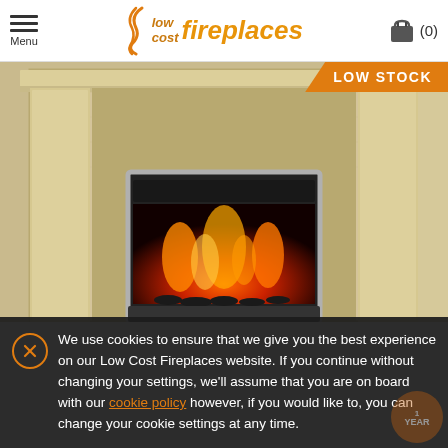Menu | Low Cost Fireplaces | (0)
[Figure (photo): Photo of a wooden fireplace surround (light oak/pine finish) with a black electric fire insert showing orange flame effect. A 'LOW STOCK' orange banner appears in the top-right corner of the image.]
We use cookies to ensure that we give you the best experience on our Low Cost Fireplaces website. If you continue without changing your settings, we'll assume that you are on board with our cookie policy however, if you would like to, you can change your cookie settings at any time.